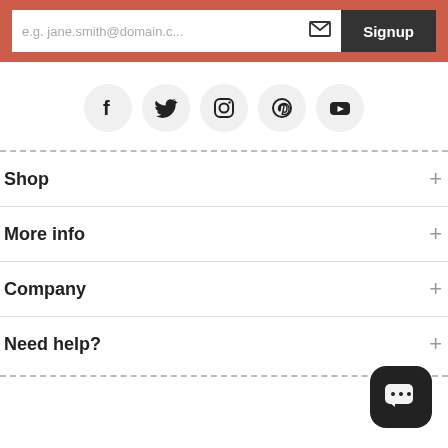[Figure (screenshot): Email signup bar with placeholder text 'e.g. jane.smith@domain.c...', envelope icon, and dark 'Signup' button on a terracotta/salmon red background.]
[Figure (infographic): Row of five social media icon circles: Facebook, Twitter, Instagram, Pinterest, YouTube.]
Shop
More info
Company
Need help?
[Figure (other): Dark rounded square chat button with speech bubble and three dots icon in the bottom right corner.]